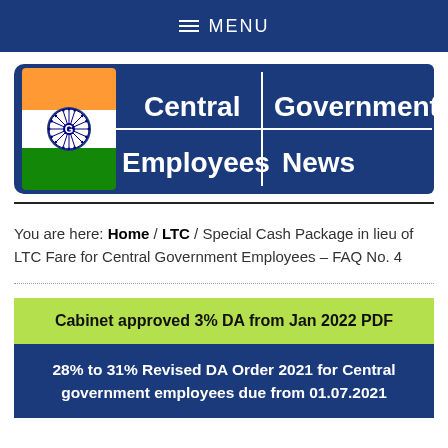MENU
[Figure (logo): Central Government Employees News logo with Indian flag wheel emblem on blue background]
You are here: Home / LTC / Special Cash Package in lieu of LTC Fare for Central Government Employees – FAQ No. 4
Cabinet approved 3% DA from Jan 2022 PDF
28% to 31% Revised DA Order 2021 for Central government employees due from 01.07.2021